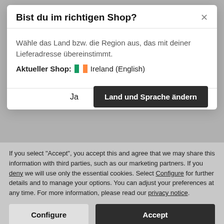Bist du im richtigen Shop?
Wähle das Land bzw. die Region aus, das mit deiner Lieferadresse übereinstimmt.
Aktueller Shop: Ireland (English)
Ja
Land und Sprache ändern
If you select "Accept", you accept this and agree that we may share this information with third parties, such as our marketing partners. If you deny we will use only the essential cookies. Select Configure for further details and to manage your options. You can adjust your preferences at any time. For more information, please read our privacy notice.
Configure
Accept